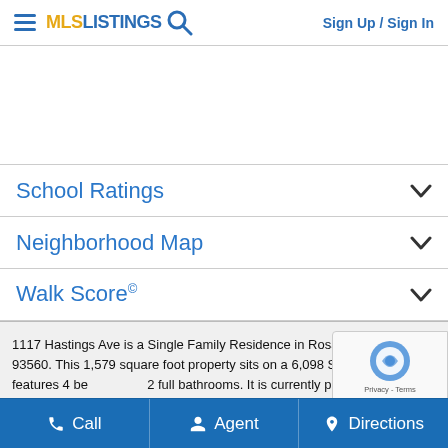MLS LISTINGS  Sign Up / Sign In
[Figure (other): Advertisement banner area (white/blank)]
School Ratings
Neighborhood Map
Walk Score©
1117 Hastings Ave is a Single Family Residence in Rosamond, CA 93560. This 1,579 square foot property sits on a 6,098 Sq Ft Lot and features 4 bedrooms & 2 full bathrooms. It is currently priced at $385,000 and was built in 19... address can also be written as 1117 Hastings Ave, Rosamond, CA 93...
Call  Agent  Directions